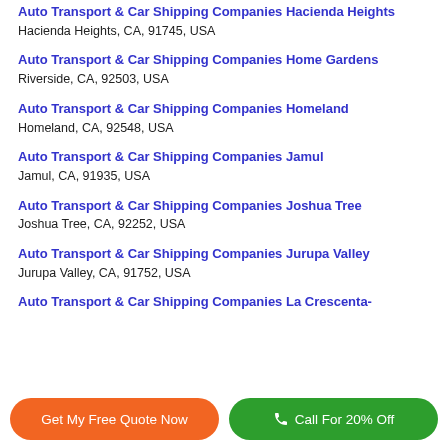Auto Transport & Car Shipping Companies Hacienda Heights
Hacienda Heights, CA, 91745, USA
Auto Transport & Car Shipping Companies Home Gardens
Riverside, CA, 92503, USA
Auto Transport & Car Shipping Companies Homeland
Homeland, CA, 92548, USA
Auto Transport & Car Shipping Companies Jamul
Jamul, CA, 91935, USA
Auto Transport & Car Shipping Companies Joshua Tree
Joshua Tree, CA, 92252, USA
Auto Transport & Car Shipping Companies Jurupa Valley
Jurupa Valley, CA, 91752, USA
Auto Transport & Car Shipping Companies La Crescenta-
Get My Free Quote Now | Call For 20% Off